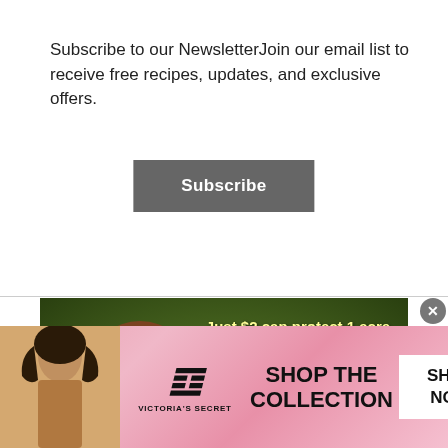Subscribe to our NewsletterJoin our email list to receive free recipes, updates, and exclusive offers.
Subscribe
[Figure (photo): Two brown capuchin monkeys in Amazon rainforest with green bamboo/plants. Text overlay reads: 'Just $2 can protect 1 acre of irreplaceable forest homes in the Amazon.' and 'How many acres will you protect?']
[Figure (advertisement): Victoria's Secret banner ad with model, VS logo, 'SHOP THE COLLECTION' text, and 'SHOP NOW' button on pink gradient background]